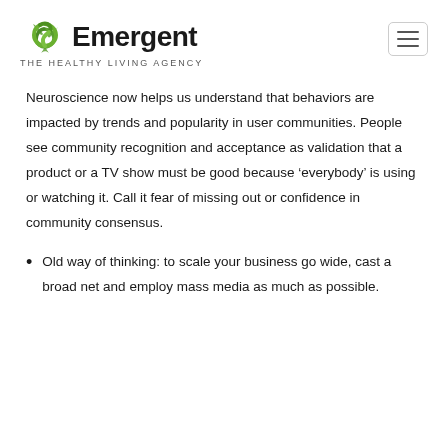Emergent THE HEALTHY LIVING AGENCY
Neuroscience now helps us understand that behaviors are impacted by trends and popularity in user communities. People see community recognition and acceptance as validation that a product or a TV show must be good because ‘everybody’ is using or watching it. Call it fear of missing out or confidence in community consensus.
Old way of thinking: to scale your business go wide, cast a broad net and employ mass media as much as possible.